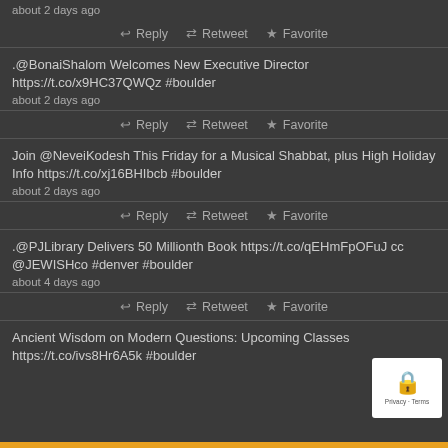about 2 days ago
Reply  Retweet  Favorite
.@BonaiShalom Welcomes New Executive Director https://t.co/x9HC37QWQz #boulder
about 2 days ago
Reply  Retweet  Favorite
Join @NeveiKodesh This Friday for a Musical Shabbat, plus High Holiday Info https://t.co/xj16BHIbcb #boulder
about 2 days ago
Reply  Retweet  Favorite
.@PJLibrary Delivers 50 Millionth Book https://t.co/qEHmFpOFuJ cc @JEWISHco #denver #boulder
about 4 days ago
Reply  Retweet  Favorite
Ancient Wisdom on Modern Questions: Upcoming Classes https://t.co/ivs8Hr6A5k #boulder